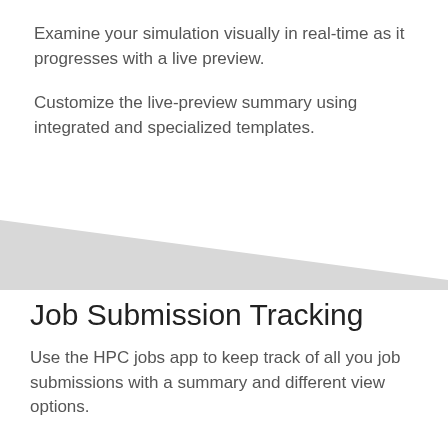Examine your simulation visually in real-time as it progresses with a live preview.
Customize the live-preview summary using integrated and specialized templates.
[Figure (illustration): Gray diagonal shape / wedge divider separating the top white section from the bottom white section, tapering from left to right.]
Job Submission Tracking
Use the HPC jobs app to keep track of all you job submissions with a summary and different view options.